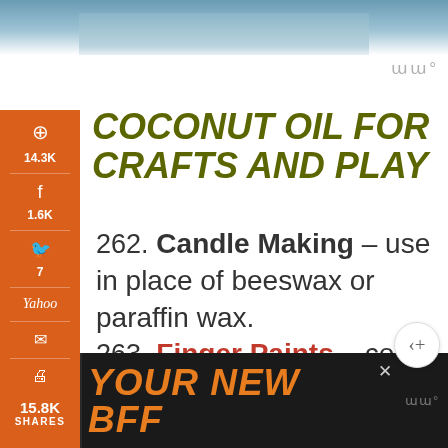[Figure (photo): Top portion of an image strip, likely showing animals (dogs/pets), cropped at the top of the page.]
COCONUT OIL FOR CRAFTS AND PLAY
262. Candle Making – use in place of beeswax or paraffin wax.
263. Finger Paints – color melted coconut oil with your favorite natural color (turmeric, beet juice,
[Figure (infographic): Bottom advertisement banner with black background showing a dog silhouette and orange bold italic text 'YOUR NEW BFF']